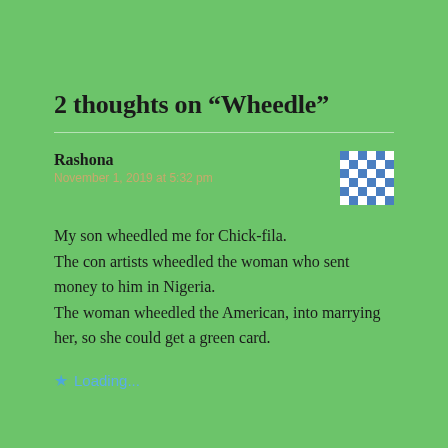2 thoughts on “Wheedle”
Rashona
November 1, 2019 at 5:32 pm
My son wheedled me for Chick-fila.
The con artists wheedled the woman who sent money to him in Nigeria.
The woman wheedled the American, into marrying her, so she could get a green card.
Loading...